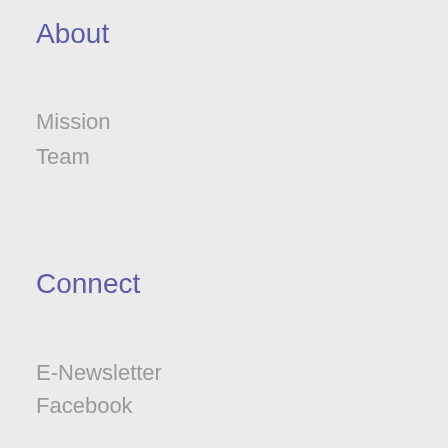About
Mission
Team
Connect
E-Newsletter
Facebook
Twitter
Instagram
Contact
Press
All Press